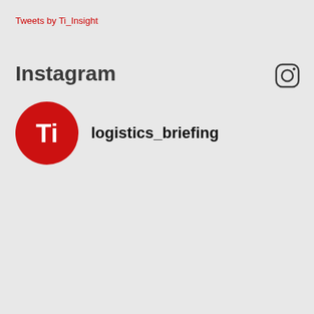Tweets by Ti_Insight
Instagram
[Figure (logo): Red circular Ti logo and Instagram icon, with username logistics_briefing]